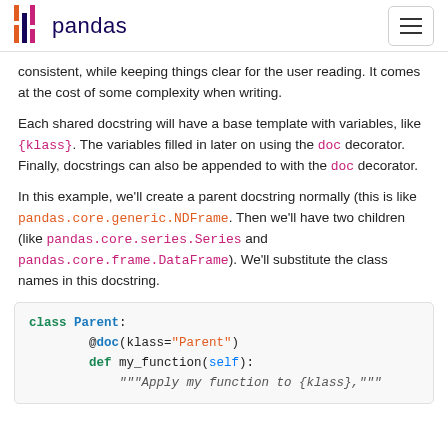pandas
consistent, while keeping things clear for the user reading. It comes at the cost of some complexity when writing.
Each shared docstring will have a base template with variables, like {klass}. The variables filled in later on using the doc decorator. Finally, docstrings can also be appended to with the doc decorator.
In this example, we'll create a parent docstring normally (this is like pandas.core.generic.NDFrame. Then we'll have two children (like pandas.core.series.Series and pandas.core.frame.DataFrame). We'll substitute the class names in this docstring.
class Parent:
    @doc(klass="Parent")
    def my_function(self):
        """Apply my function to {klass},"""